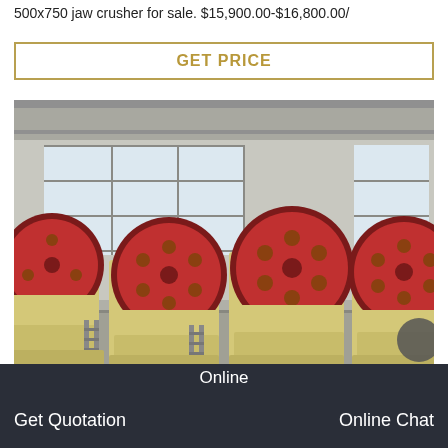500x750 jaw crusher for sale. $15,900.00-$16,800.00/
GET PRICE
[Figure (photo): Multiple jaw crushers (500x750 model) lined up in a factory/warehouse setting. Machines are cream/beige colored with dark red flywheel discs. Industrial building with large windows in background.]
Online
Get Quotation
Online Chat